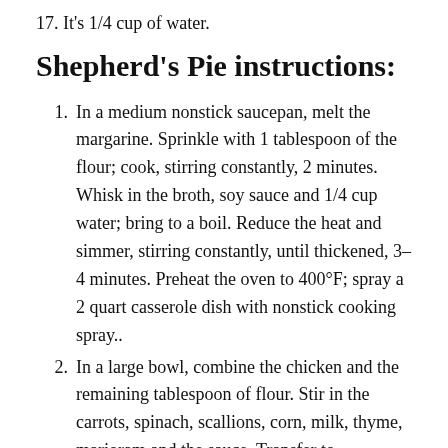17. It's 1/4 cup of water.
Shepherd's Pie instructions:
1. In a medium nonstick saucepan, melt the margarine. Sprinkle with 1 tablespoon of the flour; cook, stirring constantly, 2 minutes. Whisk in the broth, soy sauce and 1/4 cup water; bring to a boil. Reduce the heat and simmer, stirring constantly, until thickened, 3–4 minutes. Preheat the oven to 400°F; spray a 2 quart casserole dish with nonstick cooking spray..
2. In a large bowl, combine the chicken and the remaining tablespoon of flour. Stir in the carrots, spinach, scallions, corn, milk, thyme, marjoram and the sauce. Transfer to